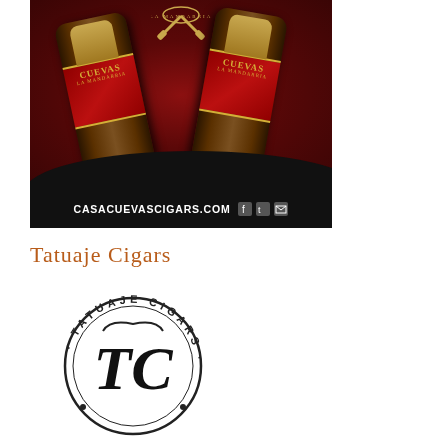[Figure (photo): Casa Cuevas Cigars advertisement showing two La Mandarria cigars with red and gold bands on a dark red leather background, with the website casacuevascigars.com and social media icons at the bottom]
Tatuaje Cigars
[Figure (logo): Tatuaje Cigars circular logo with gothic letters 'TC' monogram in the center and 'TATUAJE CIGARS' text around the border]